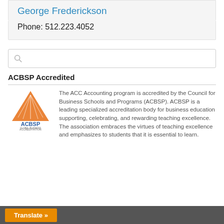George Frederickson
Phone: 512.223.4052
[Figure (other): Search input box with magnifying glass icon]
ACBSP Accredited
[Figure (logo): ACBSP Global Business Accreditation logo with orange triangle and text]
The ACC Accounting program is accredited by the Council for Business Schools and Programs (ACBSP). ACBSP is a leading specialized accreditation body for business education supporting, celebrating, and rewarding teaching excellence. The association embraces the virtues of teaching excellence and emphasizes to students that it is essential to learn.
Translate »